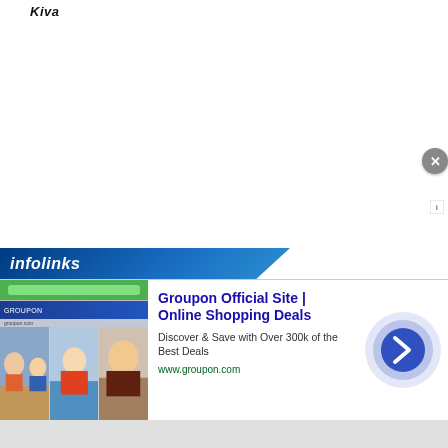Kiva
[Figure (screenshot): Infolinks advertisement bar with blue gradient background showing 'infolinks' text in white italic]
[Figure (screenshot): Groupon advertisement banner: 'Groupon Official Site | Online Shopping Deals' with description 'Discover & Save with Over 300k of the Best Deals' and URL www.groupon.com, with small thumbnail images on the left and a blue arrow circle on the right, and an X close button]